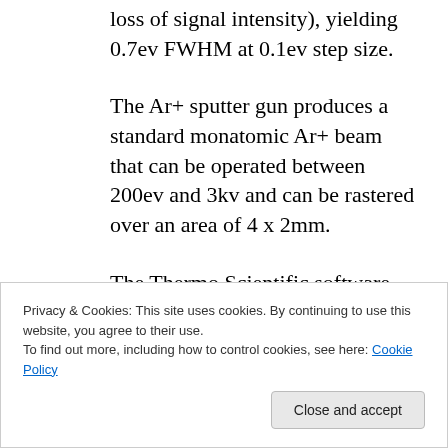loss of signal intensity), yielding 0.7ev FWHM at 0.1ev step size.
The Ar+ sputter gun produces a standard monatomic Ar+ beam that can be operated between 200ev and 3kv and can be rastered over an area of 4 x 2mm.
The Thermo Scientific software, Avantage v 5.9912, applies a correction to the intensity of acquired spectra for the Transmission
Privacy & Cookies: This site uses cookies. By continuing to use this website, you agree to their use.
To find out more, including how to control cookies, see here: Cookie Policy